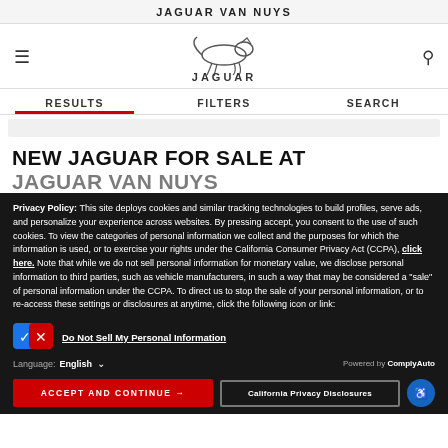JAGUAR VAN NUYS
[Figure (logo): Jaguar leaping cat logo with JAGUAR text below, hamburger menu icon on left, search icon on right]
RESULTS   FILTERS   SEARCH
NEW JAGUAR FOR SALE AT JAGUAR VAN NUYS
Privacy Policy: This site deploys cookies and similar tracking technologies to build profiles, serve ads, and personalize your experience across websites. By pressing accept, you consent to the use of such cookies. To view the categories of personal information we collect and the purposes for which the information is used, or to exercise your rights under the California Consumer Privacy Act (CCPA), click here. Note that while we do not sell personal information for monetary value, we disclose personal information to third parties, such as vehicle manufacturers, in such a way that may be considered a "sale" of personal information under the CCPA. To direct us to stop the sale of your personal information, or to re-access these settings or disclosures at anytime, click the following icon or link:
Do Not Sell My Personal Information
Language: English
Powered by ComplyAuto
ACCEPT AND CONTINUE →   California Privacy Disclosures